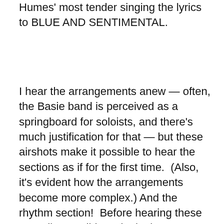Humes' most tender singing the lyrics to BLUE AND SENTIMENTAL.
I hear the arrangements anew — often, the Basie band is perceived as a springboard for soloists, and there's much justification for that — but these airshots make it possible to hear the sections as if for the first time.  (Also, it's evident how the arrangements become more complex.)  And the rhythm section!  Before hearing these recordings, I didn't take in that Jo Jones was still playing temple blocks in mid-1938, and it's a common assumption that Freddie Green and Walter Page were going along in a serious 4/4, four quarter notes to the bar, but their work is full of wonderful variations, accented notes and syncopations.  Even when a soloist closely follows the version created in the recording studio (some audience